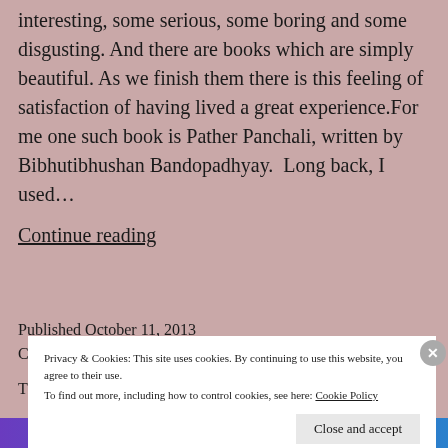interesting, some serious, some boring and some disgusting. And there are books which are simply beautiful. As we finish them there is this feeling of satisfaction of having lived a great experience.For me one such book is Pather Panchali, written by Bibhutibhushan Bandopadhyay.  Long back, I used... Continue reading
Published October 11, 2013
Categorized as Song of the Road
Privacy & Cookies: This site uses cookies. By continuing to use this website, you agree to their use.
To find out more, including how to control cookies, see here: Cookie Policy
Close and accept